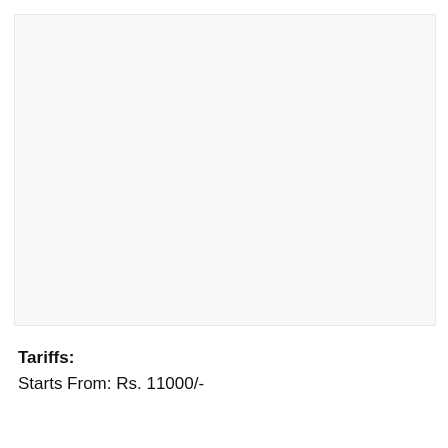[Figure (other): Large blank/white image area placeholder]
Tariffs:
Starts From: Rs. 11000/-